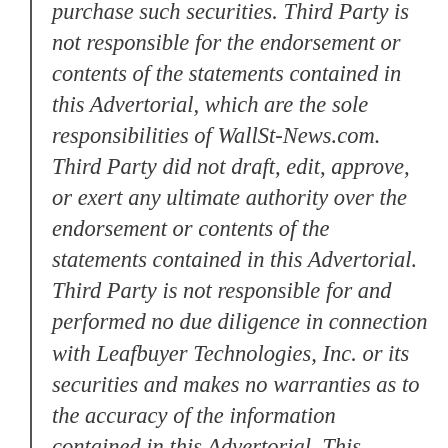purchase such securities. Third Party is not responsible for the endorsement or contents of the statements contained in this Advertorial, which are the sole responsibilities of WallSt-News.com. Third Party did not draft, edit, approve, or exert any ultimate authority over the endorsement or contents of the statements contained in this Advertorial. Third Party is not responsible for and performed no due diligence in connection with Leafbuyer Technologies, Inc. or its securities and makes no warranties as to the accuracy of the information contained in this Advertorial. This Advertorial is based